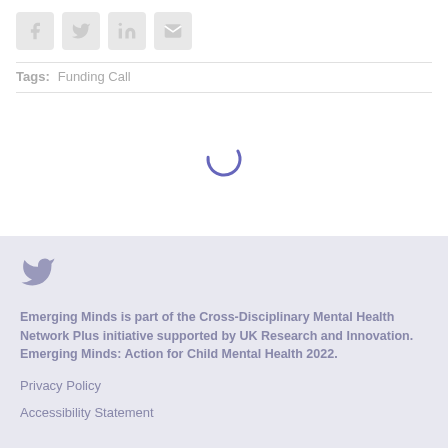[Figure (other): Social share buttons: Facebook, Twitter, LinkedIn, Email icons in grey rounded square buttons]
Tags: Funding Call
[Figure (other): Loading spinner animation (partial arc in blue/purple color)]
[Figure (other): Twitter bird icon in footer]
Emerging Minds is part of the Cross-Disciplinary Mental Health Network Plus initiative supported by UK Research and Innovation. Emerging Minds: Action for Child Mental Health 2022.
Privacy Policy
Accessibility Statement